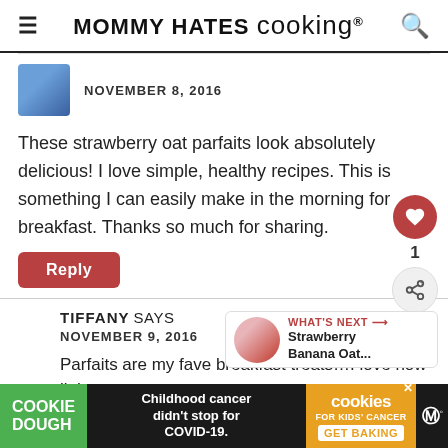MOMMY HATES cooking®
NOVEMBER 8, 2016
These strawberry oat parfaits look absolutely delicious! I love simple, healthy recipes. This is something I can easily make in the morning for breakfast. Thanks so much for sharing.
Reply
TIFFANY SAYS
NOVEMBER 9, 2016
Parfaits are my fave breakfast treats…I love how light
[Figure (other): What's Next widget showing Strawberry Banana Oat... with a round food image]
[Figure (other): Cookie Dough advertisement banner - Childhood cancer didn't stop for COVID-19. GET BAKING.]